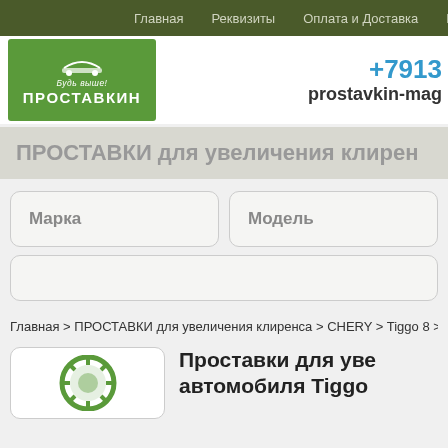Главная  Реквизиты  Оплата и Доставка  Гарантия и во
[Figure (logo): ПРОСТАВКИН logo with car icon and tagline Будь выше!]
+7913
prostavkin-mag
ПРОСТАВКИ для увеличения клирен
Марка
Модель
Главная > ПРОСТАВКИ для увеличения клиренса > CHERY > Tiggo 8 >
Проставки для уве автомобиля Tiggo